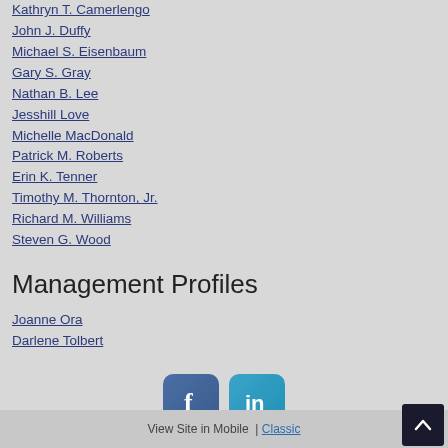Kathryn T. Camerlengo
John J. Duffy
Michael S. Eisenbaum
Gary S. Gray
Nathan B. Lee
Jesshill Love
Michelle MacDonald
Patrick M. Roberts
Erin K. Tenner
Timothy M. Thornton, Jr.
Richard M. Williams
Steven G. Wood
Management Profiles
Joanne Ora
Darlene Tolbert
[Figure (infographic): Facebook and LinkedIn social media icon buttons]
View Site in Mobile  |  Classic